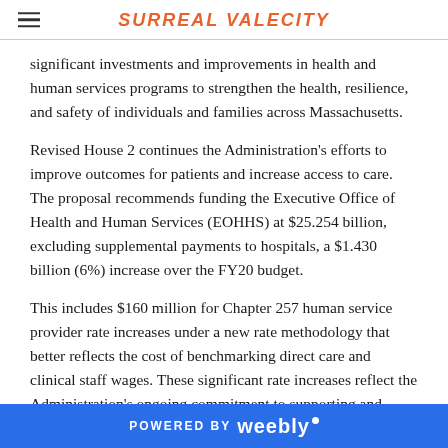SURREAL VALECITY
significant investments and improvements in health and human services programs to strengthen the health, resilience, and safety of individuals and families across Massachusetts.
Revised House 2 continues the Administration’s efforts to improve outcomes for patients and increase access to care. The proposal recommends funding the Executive Office of Health and Human Services (EOHHS) at $25.254 billion, excluding supplemental payments to hospitals, a $1.430 billion (6%) increase over the FY20 budget.
This includes $160 million for Chapter 257 human service provider rate increases under a new rate methodology that better reflects the cost of benchmarking direct care and clinical staff wages. These significant rate increases reflect the Administration’s ongoing commitment to supporting and strengthening human service
POWERED BY weebly